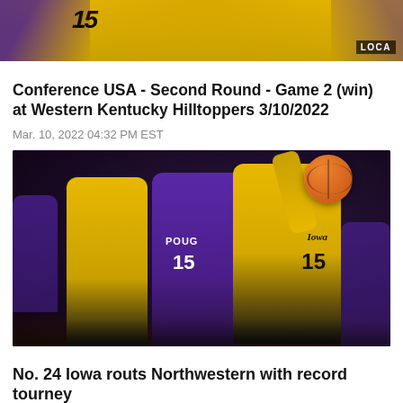[Figure (photo): Top cropped photo of Iowa basketball players in gold jerseys, player #15 visible, with a purple-uniformed opponent, arena background with LOCA text visible]
Conference USA - Second Round - Game 2 (win) at Western Kentucky Hilltoppers 3/10/2022
Mar. 10, 2022 04:32 PM EST
[Figure (photo): Iowa Hawkeyes player #15 in gold jersey reaching up for ball against Northwestern player #15 (POUG) in purple jersey, with other players in background in indoor arena]
No. 24 Iowa routs Northwestern with record tourney